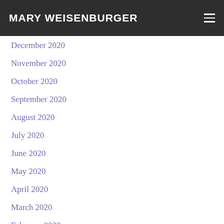MARY WEISENBURGER
December 2020
November 2020
October 2020
September 2020
August 2020
July 2020
June 2020
May 2020
April 2020
March 2020
February 2020
January 2020
December 2019
November 2019
October 2019
September 2019
August 2019